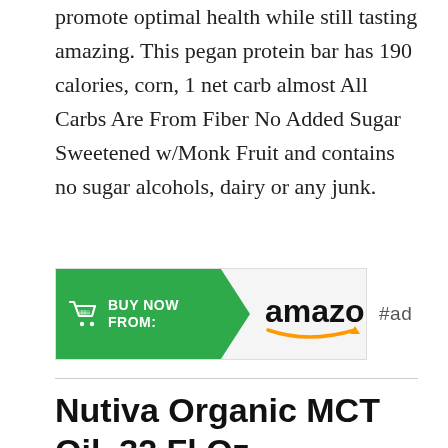promote optimal health while still tasting amazing. This pegan protein bar has 190 calories, corn, 1 net carb almost All Carbs Are From Fiber No Added Sugar Sweetened w/Monk Fruit and contains no sugar alcohols, dairy or any junk.
[Figure (other): Amazon Buy Now button badge with green arrow shape on left reading BUY NOW FROM: with cart icon, and amazon logo with smile on right gray area, followed by #ad label]
Nutiva Organic MCT Oil, 32 Fl Oz